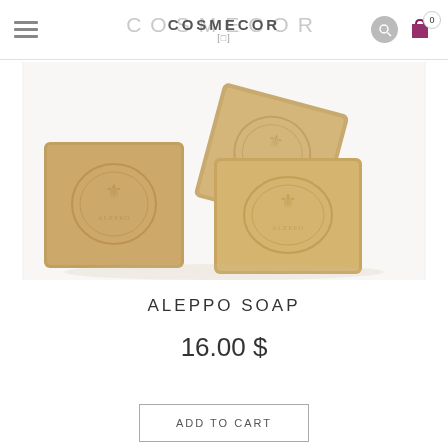COSMECOR
[Figure (photo): Three rectangular bars of Aleppo soap stacked/arranged, beige/tan colored with embossed circular stamp design, on white background]
ALEPPO SOAP
16.00 $
ADD TO CART